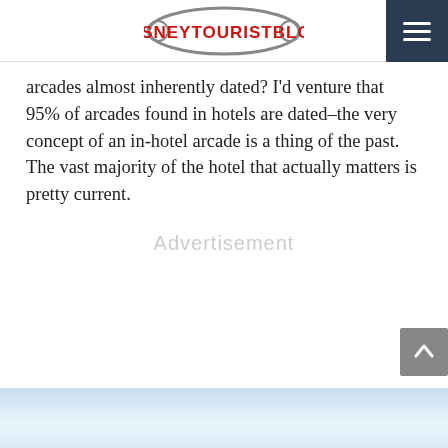DisneyTouristBlog
arcades almost inherently dated? I'd venture that 95% of arcades found in hotels are dated–the very concept of an in-hotel arcade is a thing of the past. The vast majority of the hotel that actually matters is pretty current.
Advertisement
[Figure (photo): Partial view of a building or hotel exterior with blue and white tones at the bottom of the page]